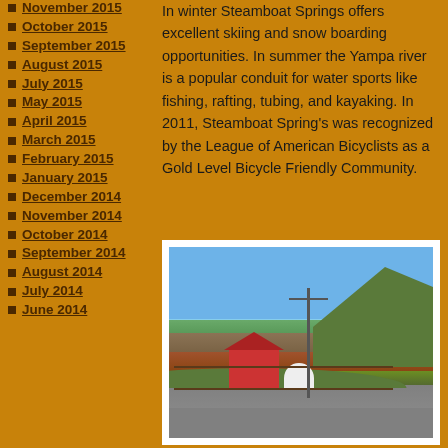November 2015
October 2015
September 2015
August 2015
July 2015
May 2015
April 2015
March 2015
February 2015
January 2015
December 2014
November 2014
October 2014
September 2014
August 2014
July 2014
June 2014
In winter Steamboat Springs offers excellent skiing and snow boarding opportunities. In summer the Yampa river is a popular conduit for water sports like fishing, rafting, tubing, and kayaking. In 2011, Steamboat Spring's was recognized by the League of American Bicyclists as a Gold Level Bicycle Friendly Community.
[Figure (photo): Photograph of a rural scene near Steamboat Springs showing barns, a white dome structure, fencing, a utility pole, green hills, and mountains in the background under a blue sky.]